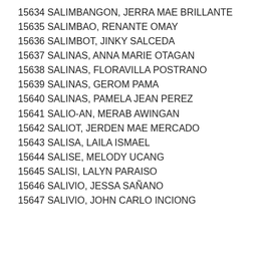15634 SALIMBANGON, JERRA MAE BRILLANTE
15635 SALIMBAO, RENANTE OMAY
15636 SALIMBOT, JINKY SALCEDA
15637 SALINAS, ANNA MARIE OTAGAN
15638 SALINAS, FLORAVILLA POSTRANO
15639 SALINAS, GEROM PAMA
15640 SALINAS, PAMELA JEAN PEREZ
15641 SALIO-AN, MERAB AWINGAN
15642 SALIOT, JERDEN MAE MERCADO
15643 SALISA, LAILA ISMAEL
15644 SALISE, MELODY UCANG
15645 SALISI, LALYN PARAISO
15646 SALIVIO, JESSA SAÑANO
15647 SALIVIO, JOHN CARLO INCIONG